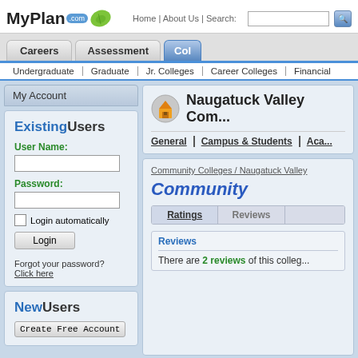[Figure (screenshot): MyPlan.com logo with green leaf and .com bubble]
Home | About Us | Search:
Careers | Assessment | Col...
Undergraduate | Graduate | Jr. Colleges | Career Colleges | Financial
My Account
ExistingUsers
User Name:
Password:
Login automatically
Login
Forgot your password?
Click here
NewUsers
Create Free Account
Naugatuck Valley Com...
General | Campus & Students | Aca...
Community Colleges / Naugatuck Valley
Community
Ratings | Reviews
Reviews
There are 2 reviews of this college...